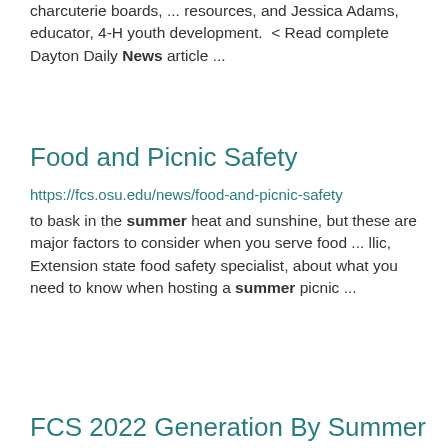charcuterie boards, ... resources, and Jessica Adams, educator, 4-H youth development.  < Read complete Dayton Daily News article ...
Food and Picnic Safety
https://fcs.osu.edu/news/food-and-picnic-safety
to bask in the summer heat and sunshine, but these are major factors to consider when you serve food ... llic, Extension state food safety specialist, about what you need to know when hosting a summer picnic ...
FCS 2022 Generation By Summer